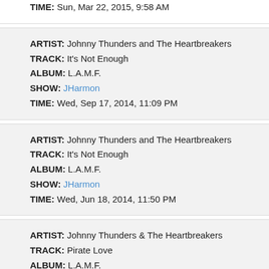TIME: Sun, Mar 22, 2015, 9:58 AM
ARTIST: Johnny Thunders and The Heartbreakers
TRACK: It's Not Enough
ALBUM: L.A.M.F.
SHOW: JHarmon
TIME: Wed, Sep 17, 2014, 11:09 PM
ARTIST: Johnny Thunders and The Heartbreakers
TRACK: It's Not Enough
ALBUM: L.A.M.F.
SHOW: JHarmon
TIME: Wed, Jun 18, 2014, 11:50 PM
ARTIST: Johnny Thunders & The Heartbreakers
TRACK: Pirate Love
ALBUM: L.A.M.F.
SHOW: JHarmon
TIME: Wed, Feb 26, 2014, 11:08 PM
ARTIST: The Heartbreakers
TRACK: Chinese Rocks